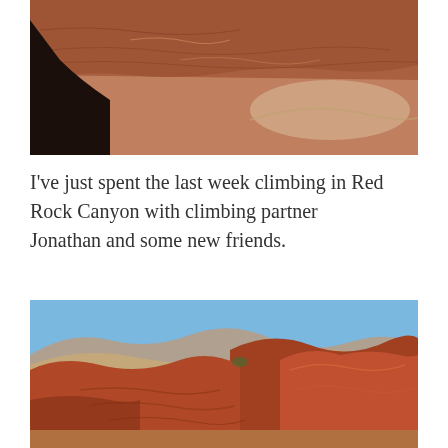[Figure (photo): Aerial view of red rock canyon cliffs and desert terrain with a winding path visible in the distance. Dark rock silhouette in the foreground.]
I've just spent the last week climbing in Red Rock Canyon with climbing partner Jonathan and some new friends.
[Figure (photo): Red rock canyon landscape with layered sandstone cliffs in the foreground and mountains with blue sky in the background.]